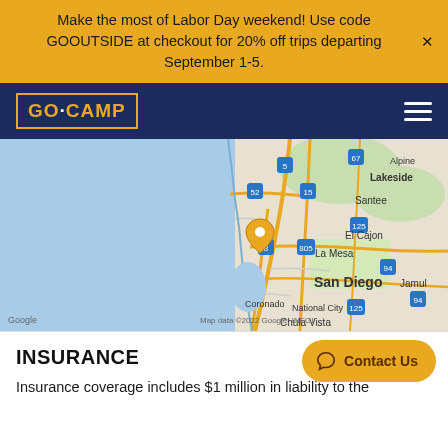Make the most of Labor Day weekend! Use code GOOUTSIDE at checkout for 20% off trips departing September 1-5.
[Figure (logo): GO·CAMP logo in yellow text with border on dark navy background, with hamburger menu icon]
[Figure (map): Google Maps screenshot showing San Diego area with location pin marker. Shows areas including Lakeside, Santee, El Cajon, La Mesa, San Diego, Coronado, National City, Chula Vista, Jamul. Map data ©2022 Google, INEGI.]
INSURANCE
Insurance coverage includes $1 million in liability to the